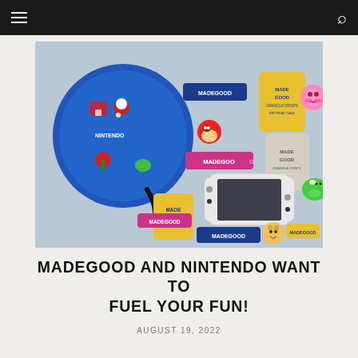Navigation bar with hamburger menu and search icon
[Figure (photo): Flat lay photo of MadeGood snack bars and granola crisp packages alongside a Nintendo Switch OLED console, a blue Nintendo-themed backpack with Mario characters, and Nintendo character stickers (Mario, Kirby, Yoshi, Splatoon squid) arranged on a light grey surface.]
MADEGOOD AND NINTENDO WANT TO FUEL YOUR FUN!
AUGUST 19, 2022